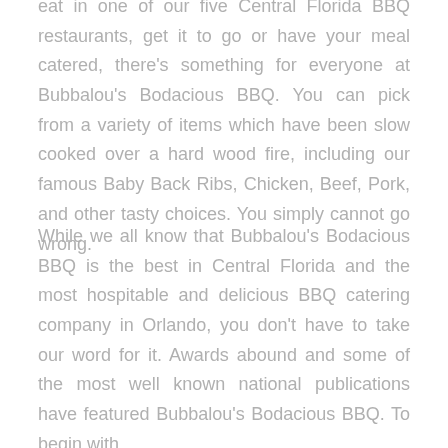eat in one of our five Central Florida BBQ restaurants, get it to go or have your meal catered, there's something for everyone at Bubbalou's Bodacious BBQ. You can pick from a variety of items which have been slow cooked over a hard wood fire, including our famous Baby Back Ribs, Chicken, Beef, Pork, and other tasty choices. You simply cannot go wrong.
While we all know that Bubbalou's Bodacious BBQ is the best in Central Florida and the most hospitable and delicious BBQ catering company in Orlando, you don't have to take our word for it. Awards abound and some of the most well known national publications have featured Bubbalou's Bodacious BBQ. To begin with,